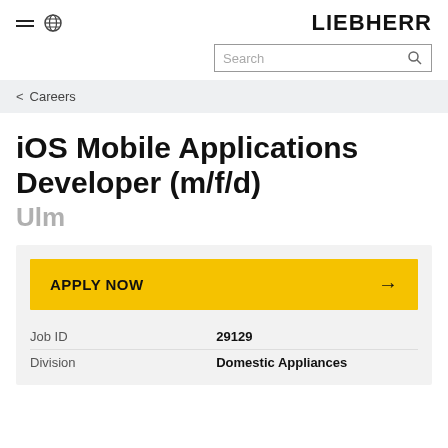LIEBHERR
Search
< Careers
iOS Mobile Applications Developer (m/f/d)
Ulm
APPLY NOW →
| Field | Value |
| --- | --- |
| Job ID | 29129 |
| Division | Domestic Appliances |